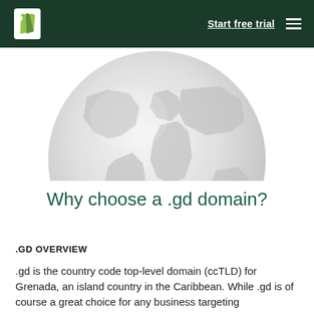Shopify | Start free trial
[Figure (illustration): A globe/world map rendered in light gray tones, partially cropped, showing continents against a white background.]
Why choose a .gd domain?
.GD OVERVIEW
.gd is the country code top-level domain (ccTLD) for Grenada, an island country in the Caribbean. While .gd is of course a great choice for any business targeting